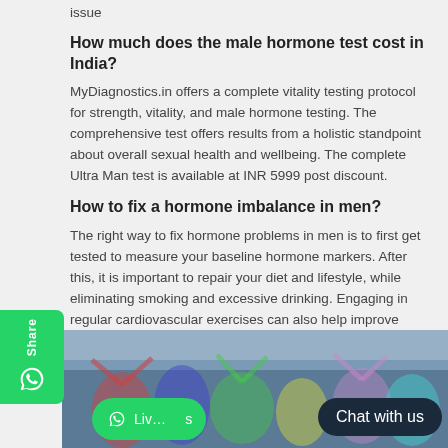issue
How much does the male hormone test cost in India?
MyDiagnostics.in offers a complete vitality testing protocol for strength, vitality, and male hormone testing. The comprehensive test offers results from a holistic standpoint about overall sexual health and wellbeing. The complete Ultra Man test is available at INR 5999 post discount.
How to fix a hormone imbalance in men?
The right way to fix hormone problems in men is to first get tested to measure your baseline hormone markers. After this, it is important to repair your diet and lifestyle, while eliminating smoking and excessive drinking. Engaging in regular cardiovascular exercises can also help improve hormone balance, along with focusing on getting quality sleep every night.
[Figure (photo): Photo of people doing exercise/yoga outdoors with a WhatsApp Live Chat button and Chat with us overlay at the bottom]